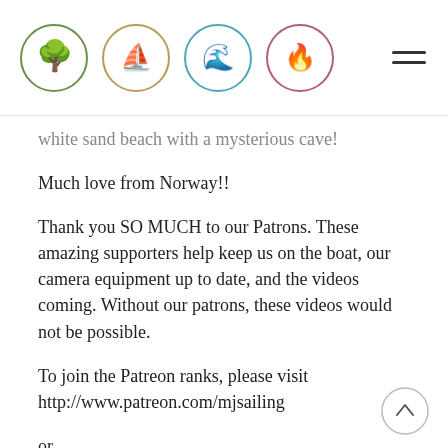Four logos and navigation menu
white sand beach with a mysterious cave!
Much love from Norway!!
Thank you SO MUCH to our Patrons. These amazing supporters help keep us on the boat, our camera equipment up to date, and the videos coming. Without our patrons, these videos would not be possible.
To join the Patreon ranks, please visit http://www.patreon.com/mjsailing
or
Buy us a beer through PayPal! https://www.paypal.me/MJSailing